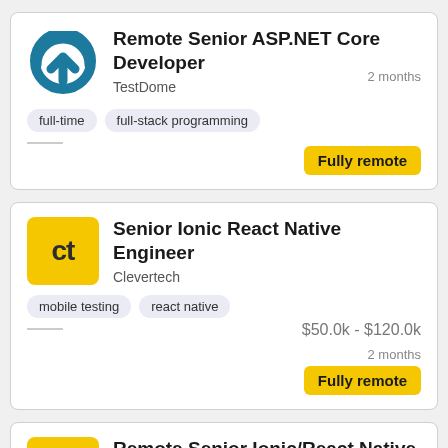Remote Senior ASP.NET Core Developer
TestDome
full-time
full-stack programming
2 months
Fully remote
Senior Ionic React Native Engineer
Clevertech
mobile testing
react native
$50.0k - $120.0k
2 months
Fully remote
Remote Senior Ionic/React Native